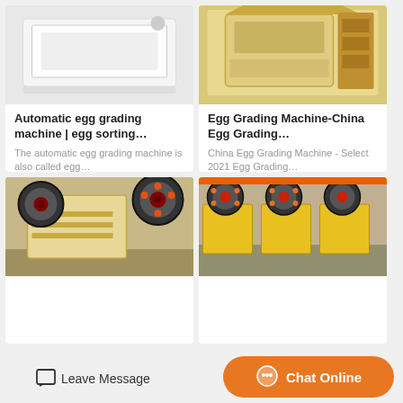[Figure (photo): White industrial egg grading machine, side/front view on plain background]
Automatic egg grading machine | egg sorting…
The automatic egg grading machine is also called egg…
Get Price
[Figure (photo): Beige/yellow industrial Egg Grading Machine, front view in factory]
Egg Grading Machine-China Egg Grading…
China Egg Grading Machine - Select 2021 Egg Grading…
Get Price
[Figure (photo): Beige jaw crusher machine with large flywheel, industrial factory setting]
[Figure (photo): Row of yellow jaw crusher machines with large flywheels in industrial factory]
Leave Message
Chat Online